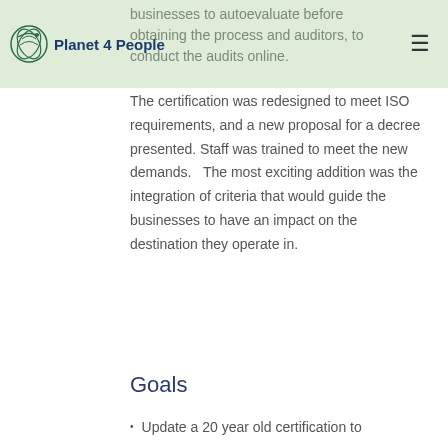Planet 4 People
businesses to autoevaluate before obtaining the process and auditors, to conduct the audits online.  The certification was redesigned to meet ISO requirements, and a new proposal for a decree presented.  Staff was trained to meet the new demands.   The most exciting addition was the integration of criteria that would guide the businesses to have an impact on the destination they operate in.
Goals
Update a 20 year old certification to